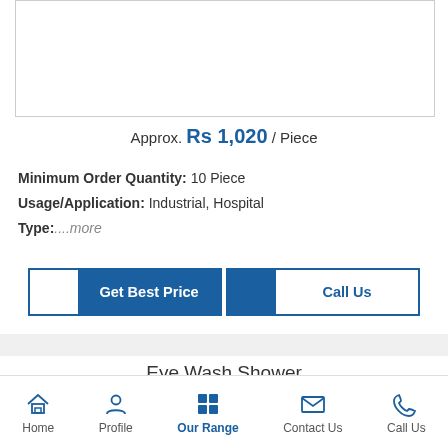[Figure (photo): Product image placeholder (white box with border)]
Approx. Rs 1,020 / Piece
Minimum Order Quantity: 10 Piece
Usage/Application: Industrial, Hospital
Type:....more
Get Best Price
Call Us
Eye Wash Shower
Home | Profile | Our Range | Contact Us | Call Us